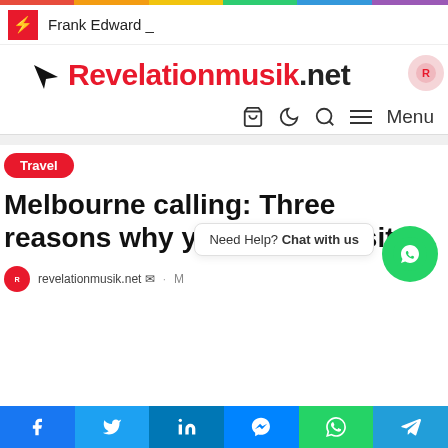Frank Edward _
[Figure (logo): Revelationmusik.net logo with arrow icon]
Melbourne calling: Three reasons why you should visit it
Travel
revelationmusik.net
Need Help? Chat with us